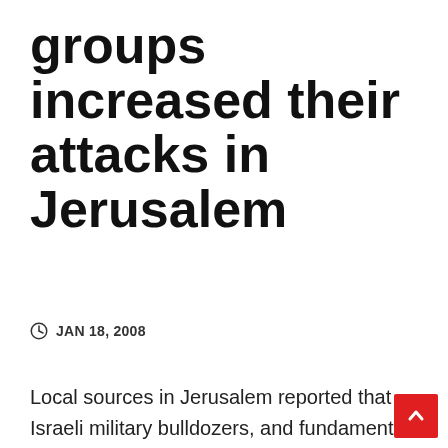groups increased their attacks in Jerusalem
JAN 18, 2008
Local sources in Jerusalem reported that Israeli military bulldozers, and fundamental Jewish groups increased their attacks against the Palestinian areas in Jerusalem and started on Thursday to dig a street which leads to several buildings which were illegally seized by the groups two days ago. The buildings are located